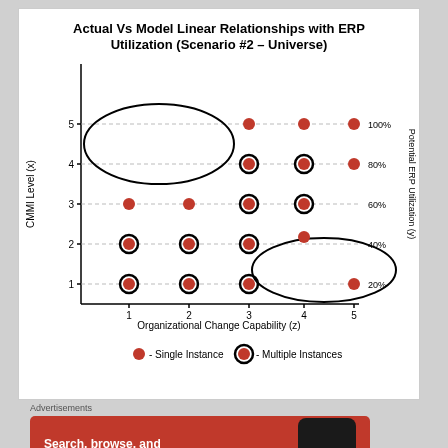[Figure (scatter-plot): Scatter plot showing CMMI Level (x-axis 1-5) vs ERP Utilization y-axis 20%-100%, with single and multiple instance dots, and two ellipses highlighting clusters]
[Figure (infographic): DuckDuckGo advertisement banner: Search, browse, and email with more privacy. All in One Free App]